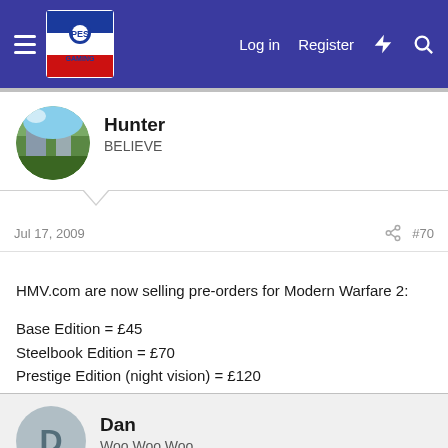PESGaming — Log in  Register
Hunter
BELIEVE
Jul 17, 2009
#70
HMV.com are now selling pre-orders for Modern Warfare 2:

Base Edition = £45
Steelbook Edition = £70
Prestige Edition (night vision) = £120

At least it's good to see that this "£55" rumour is just bullshit, and won't be enforced. While on the other hand, the steelbook and prestige editions are stupidly overpriced - no doubt a few freaks will buy them though.
Dan
Woo Woo Woo